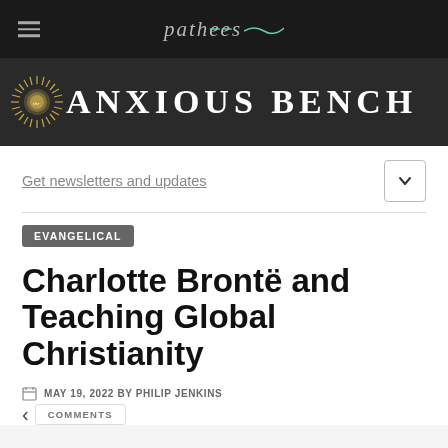patheos
[Figure (logo): Anxious Bench banner with sunburst logo and text ANXIOUS BENCH on dark background]
Get newsletters and updates
EVANGELICAL
Charlotte Brontë and Teaching Global Christianity
MAY 19, 2022 BY PHILIP JENKINS
COMMENTS